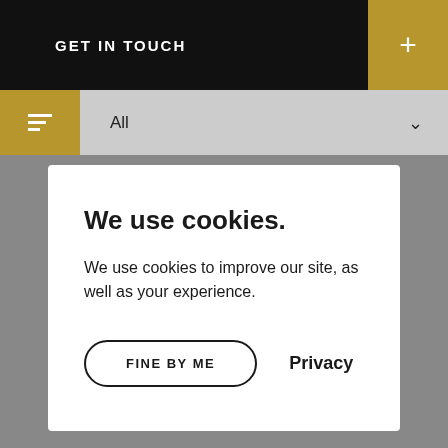GET IN TOUCH
All
We use cookies.
We use cookies to improve our site, as well as your experience.
FINE BY ME
Privacy